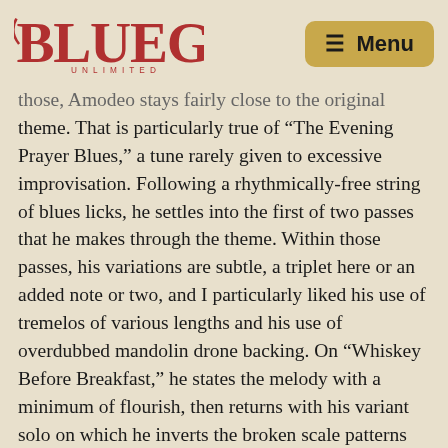BLUEGRASS UNLIMITED [logo] Menu
those, Amodeo stays fairly close to the original theme. That is particularly true of “The Evening Prayer Blues,” a tune rarely given to excessive improvisation. Following a rhythmically-free string of blues licks, he settles into the first of two passes that he makes through the theme. Within those passes, his variations are subtle, a triplet here or an added note or two, and I particularly liked his use of tremelos of various lengths and his use of overdubbed mandolin drone backing. On “Whiskey Before Breakfast,” he states the melody with a minimum of flourish, then returns with his variant solo on which he inverts the broken scale patterns around the melody somewhat, though never so much that you lose sight of it.